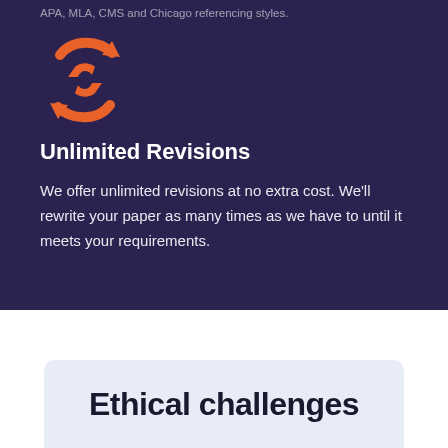APA, MLA, CMS and Chicago referencing styles.
[Figure (logo): Orange circular refresh/sync arrow icon on dark purple background]
Unlimited Revisions
We offer unlimited revisions at no extra cost. We'll rewrite your paper as many times as we have to until it meets your requirements.
Ethical challenges